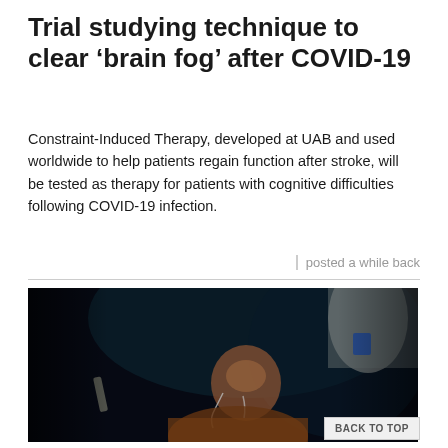Trial studying technique to clear ‘brain fog’ after COVID-19
Constraint-Induced Therapy, developed at UAB and used worldwide to help patients regain function after stroke, will be tested as therapy for patients with cognitive difficulties following COVID-19 infection.
posted a while back
[Figure (photo): A person with earphones, illuminated by a screen glow in a dark setting, wearing an orange jacket, with their hand raised behind their head.]